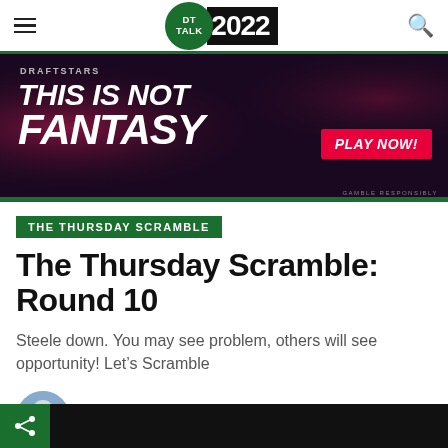DT TALK 2022
[Figure (photo): Draftstars advertisement banner: THIS IS NOT FANTASY with athlete and PLAY NOW button. Gamble Responsibly text.]
THE THURSDAY SCRAMBLE
The Thursday Scramble: Round 10
Steele down. You may see problem, others will see opportunity! Let’s Scramble
by Dunny  May 19, 2022